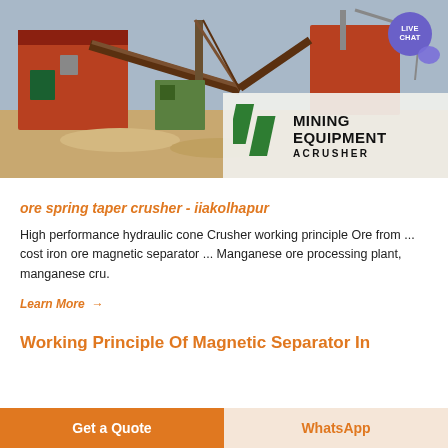[Figure (photo): Mining equipment facility with conveyor belts and industrial machinery, with MINING EQUIPMENT ACRUSHER overlay logo in bottom right, and LIVE CHAT bubble in top right corner]
ore spring taper crusher - iiakolhapur
High performance hydraulic cone Crusher working principle Ore from ... cost iron ore magnetic separator ... Manganese ore processing plant, manganese cru.
Learn More →
Working Principle Of Magnetic Separator In
Get a Quote
WhatsApp